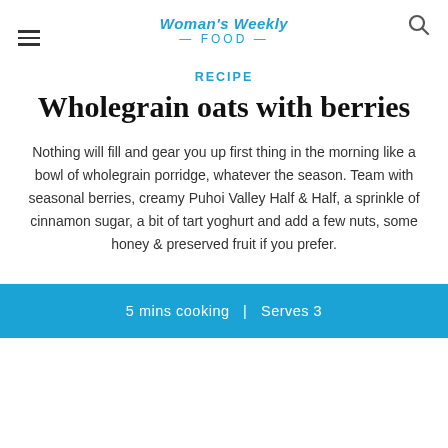Woman's Weekly FOOD
RECIPE
Wholegrain oats with berries
Nothing will fill and gear you up first thing in the morning like a bowl of wholegrain porridge, whatever the season. Team with seasonal berries, creamy Puhoi Valley Half & Half, a sprinkle of cinnamon sugar, a bit of tart yoghurt and add a few nuts, some honey & preserved fruit if you prefer.
5 mins cooking  |  Serves 3